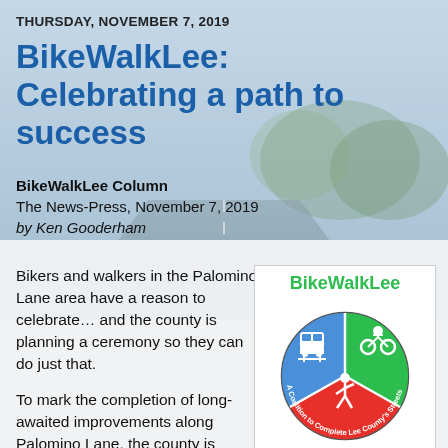THURSDAY, NOVEMBER 7, 2019
BikeWalkLee: Celebrating a path to success
BikeWalkLee Column
The News-Press, November 7, 2019
by Ken Gooderham
Bikers and walkers in the Palomino Lane area have a reason to celebrate… and the county is planning a ceremony so they can do just that.
To mark the completion of long-awaited improvements along Palomino Lane, the county is holding a ribbon-cutting ceremony on Wednesday, Nov.
[Figure (logo): BikeWalkLee logo — circular pie chart divided into three colored sections: blue (bus/transit icon), green (cyclist icon), red (pedestrian/walker icon). Text around the circle reads 'A Coalition to Complete Lee County's Streets'. 'BikeWalkLee' text arcs over the top in green.]